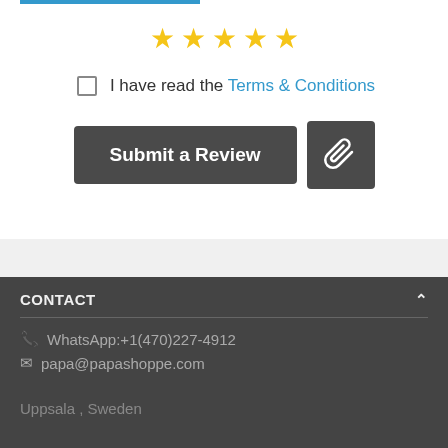[Figure (other): Five gold star rating icons displayed horizontally]
I have read the Terms & Conditions
Submit a Review
CONTACT
WhatsApp:+1(470)227-4912
papa@papashoppe.com
Uppsala , Sweden
COMPANY INFO AND POLICIES
PURCHASE INFO